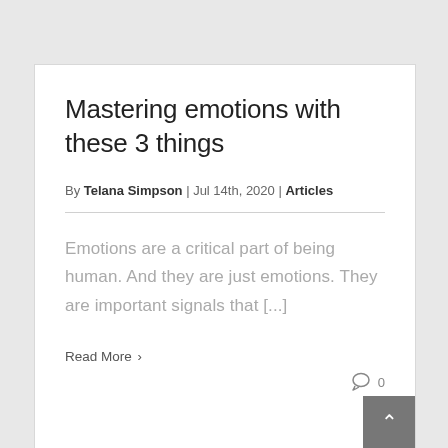Mastering emotions with these 3 things
By Telana Simpson | Jul 14th, 2020 | Articles
Emotions are a critical part of being human. And they are just emotions. They are important signals that [...]
Read More >